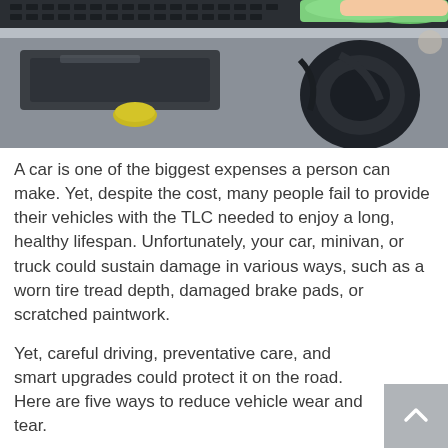[Figure (photo): Close-up photograph of a car engine bay being cleaned/maintained, with a green cloth visible at the top and automotive components visible including a yellow reservoir cap and black engine parts.]
A car is one of the biggest expenses a person can make. Yet, despite the cost, many people fail to provide their vehicles with the TLC needed to enjoy a long, healthy lifespan. Unfortunately, your car, minivan, or truck could sustain damage in various ways, such as a worn tire tread depth, damaged brake pads, or scratched paintwork.
Yet, careful driving, preventative care, and smart upgrades could protect it on the road. Here are five ways to reduce vehicle wear and tear.